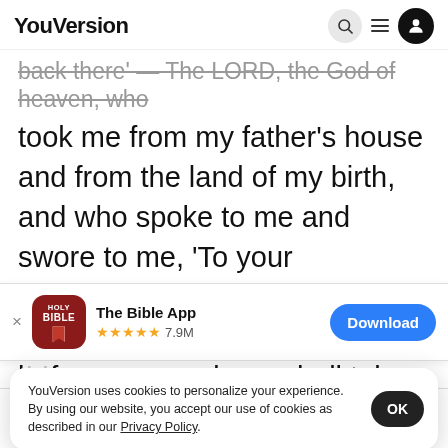YouVersion
back there' — The LORD, the God of heaven, who took me from my father's house and from the land of my birth, and who spoke to me and swore to me, 'To your descendants I will give this land,' he will send his angel before you. and you shall take a
[Figure (screenshot): App download banner for The Bible App showing app icon, 5 stars, 7.9M rating, and Download button]
this oat  back th
YouVersion uses cookies to personalize your experience. By using our website, you accept our use of cookies as described in our Privacy Policy.
Home  Bible  Plans  Videos